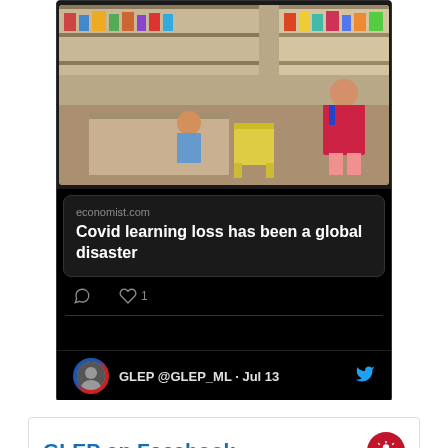[Figure (screenshot): Twitter/social media embed showing a photo of a child studying in a small shop with an adult, with a link card to economist.com article 'Covid learning loss has been a global disaster', with reply and like icons (1 like), and the beginning of another tweet from GLEP @GLEP_ML · Jul 13 at the bottom]
GLEP on Facebook